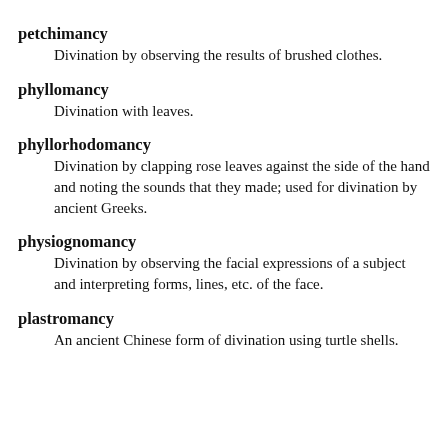petchimancy
Divination by observing the results of brushed clothes.
phyllomancy
Divination with leaves.
phyllorhodomancy
Divination by clapping rose leaves against the side of the hand and noting the sounds that they made; used for divination by ancient Greeks.
physiognomancy
Divination by observing the facial expressions of a subject and interpreting forms, lines, etc. of the face.
plastromancy
An ancient Chinese form of divination using turtle shells.